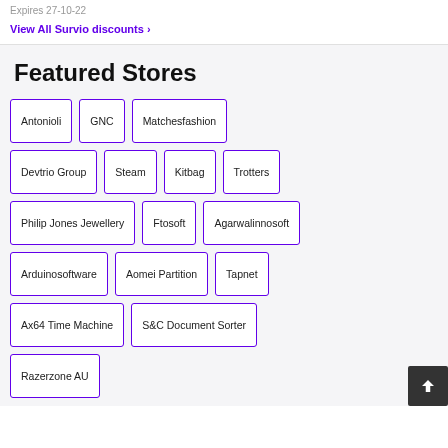Expires 27-10-22
View All Survio discounts ›
Featured Stores
Antonioli
GNC
Matchesfashion
Devtrio Group
Steam
Kitbag
Trotters
Philip Jones Jewellery
Ftosoft
Agarwalinnosoft
Arduinosoftware
Aomei Partition
Tapnet
Ax64 Time Machine
S&C Document Sorter
Razerzone AU